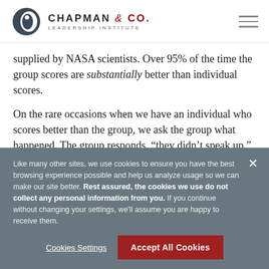CHAPMAN & CO. LEADERSHIP INSTITUTE
supplied by NASA scientists. Over 95% of the time the group scores are substantially better than individual scores.
On the rare occasions when we have an individual who scores better than the group, we ask the group what happened. The group responds, “they didn’t speak up.”
Like many other sites, we use cookies to ensure you have the best browsing experience possible and help us analyze usage so we can make our site better. Rest assured, the cookies we use do not collect any personal information from you. If you continue without changing your settings, we'll assume you are happy to receive them.